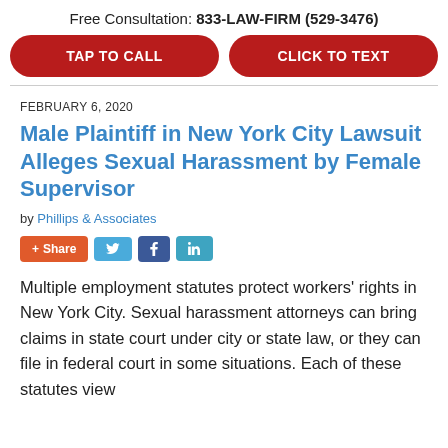Free Consultation: 833-LAW-FIRM (529-3476)
TAP TO CALL
CLICK TO TEXT
FEBRUARY 6, 2020
Male Plaintiff in New York City Lawsuit Alleges Sexual Harassment by Female Supervisor
by Phillips & Associates
+ Share | Twitter | Facebook | LinkedIn
Multiple employment statutes protect workers' rights in New York City. Sexual harassment attorneys can bring claims in state court under city or state law, or they can file in federal court in some situations. Each of these statutes view